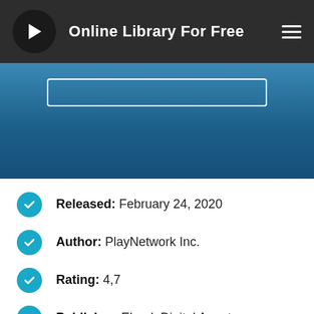Online Library For Free
Released: February 24, 2020
Author: PlayNetwork Inc.
Rating: 4,7
Publisher: Ebook Digital Agent
Total Page: 250 pages
File Size: 20000 KB